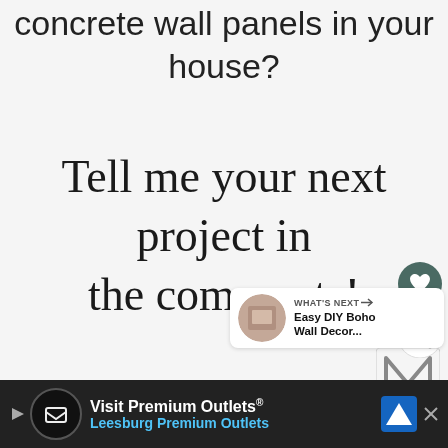concrete wall panels in your house?
Tell me your next project in the comments!
[Figure (screenshot): Heart/like button (dark teal circular button with heart icon)]
[Figure (screenshot): Share button (white circular button with share icon)]
[Figure (screenshot): What's Next panel showing 'Easy DIY Boho Wall Decor...' with thumbnail]
[Figure (logo): M logo watermark]
[Figure (screenshot): Advertisement bar: Visit Premium Outlets – Leesburg Premium Outlets]